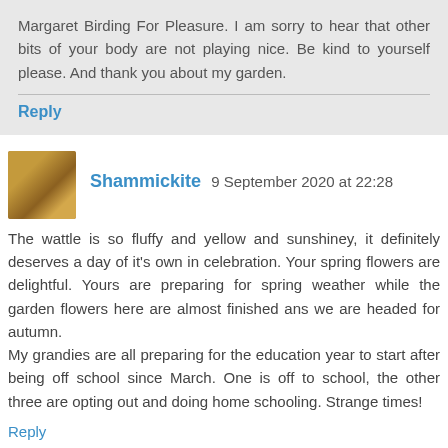Margaret Birding For Pleasure. I am sorry to hear that other bits of your body are not playing nice. Be kind to yourself please. And thank you about my garden.
Reply
Shammickite 9 September 2020 at 22:28
The wattle is so fluffy and yellow and sunshiney, it definitely deserves a day of it's own in celebration. Your spring flowers are delightful. Yours are preparing for spring weather while the garden flowers here are almost finished ans we are headed for autumn.
My grandies are all preparing for the education year to start after being off school since March. One is off to school, the other three are opting out and doing home schooling. Strange times!
Reply